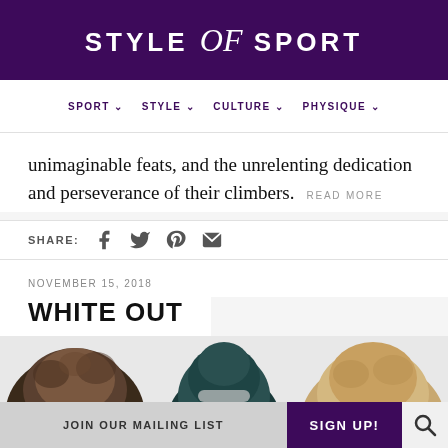STYLE of SPORT
SPORT  STYLE  CULTURE  PHYSIQUE
unimaginable feats, and the unrelenting dedication and perseverance of their climbers. READ MORE
SHARE:
NOVEMBER 15, 2018
WHITE OUT
[Figure (photo): Three hats/headwear items partially visible at bottom of page]
JOIN OUR MAILING LIST   SIGN UP!